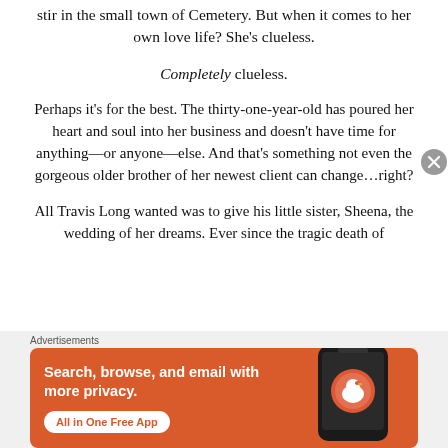stir in the small town of Cemetery. But when it comes to her own love life? She's clueless.
Completely clueless.
Perhaps it's for the best. The thirty-one-year-old has poured her heart and soul into her business and doesn't have time for anything—or anyone—else. And that's something not even the gorgeous older brother of her newest client can change…right?
All Travis Long wanted was to give his little sister, Sheena, the wedding of her dreams. Ever since the tragic death of
Advertisements
[Figure (other): DuckDuckGo advertisement banner: orange background with text 'Search, browse, and email with more privacy. All in One Free App' and a DuckDuckGo logo with a smartphone image on the right.]